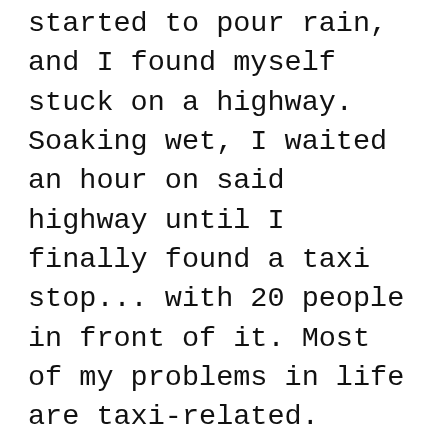started to pour rain, and I found myself stuck on a highway. Soaking wet, I waited an hour on said highway until I finally found a taxi stop... with 20 people in front of it. Most of my problems in life are taxi-related.
Thank god for the Chanel gift bag (or my 14-year-old stature), because the 20 people in front of me let me cut them, assuming I had somewhere urgent to be—which I did. It was Carlos Mota's birthday party, and I made it three hours late. I stepped inside the most fantastically decorated apartment in Paris and saw all the Parisian socialites